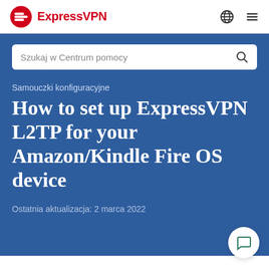ExpressVPN
Szukaj w Centrum pomocy
Samouczki konfiguracyjne
How to set up ExpressVPN L2TP for your Amazon/Kindle Fire OS device
Ostatnia aktualizacja: 2 marca 2022